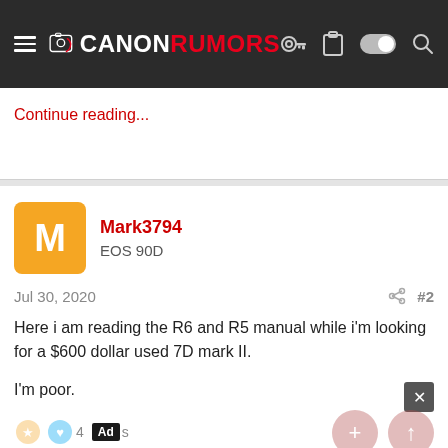CANONRUMORS
Continue reading...
Mark3794
EOS 90D
Jul 30, 2020  #2
Here i am reading the R6 and R5 manual while i'm looking for a $600 dollar used 7D mark II.

I'm poor.